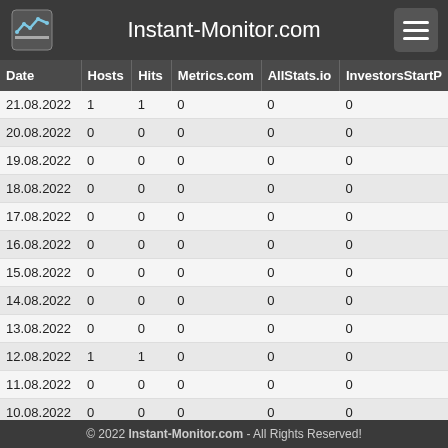Instant-Monitor.com
| Date | Hosts | Hits | Metrics.com | AllStats.io | InvestorsStartP |
| --- | --- | --- | --- | --- | --- |
| 21.08.2022 | 1 | 1 | 0 | 0 | 0 |
| 20.08.2022 | 0 | 0 | 0 | 0 | 0 |
| 19.08.2022 | 0 | 0 | 0 | 0 | 0 |
| 18.08.2022 | 0 | 0 | 0 | 0 | 0 |
| 17.08.2022 | 0 | 0 | 0 | 0 | 0 |
| 16.08.2022 | 0 | 0 | 0 | 0 | 0 |
| 15.08.2022 | 0 | 0 | 0 | 0 | 0 |
| 14.08.2022 | 0 | 0 | 0 | 0 | 0 |
| 13.08.2022 | 0 | 0 | 0 | 0 | 0 |
| 12.08.2022 | 1 | 1 | 0 | 0 | 0 |
| 11.08.2022 | 0 | 0 | 0 | 0 | 0 |
| 10.08.2022 | 0 | 0 | 0 | 0 | 0 |
| 09.08.2022 | 0 | 0 | 0 | 0 | 0 |
| 08.08.2022 | 0 | 0 | 0 | 0 | 0 |
© 2022 Instant-Monitor.com - All Rights Reserved!